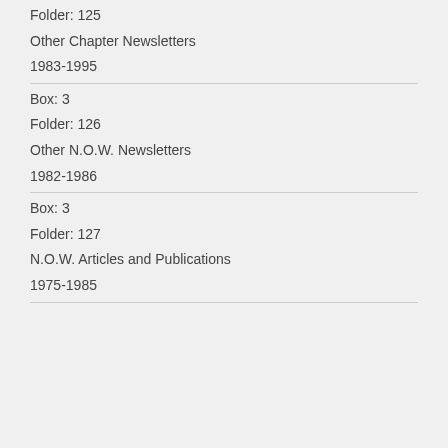Folder: 125
Other Chapter Newsletters
1983-1995
Box: 3
Folder: 126
Other N.O.W. Newsletters
1982-1986
Box: 3
Folder: 127
N.O.W. Articles and Publications
1975-1985